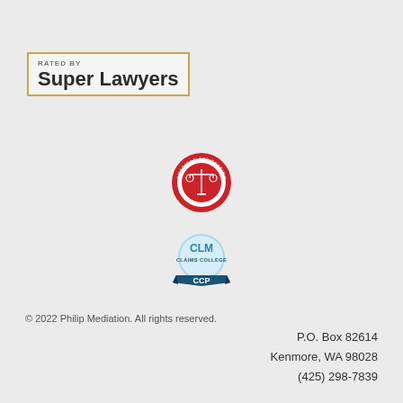[Figure (logo): Rated by Super Lawyers badge with gold border]
[Figure (logo): American Arbitration Association member badge - circular red logo]
[Figure (logo): CLM Claims College CCP certification badge - blue circular logo]
© 2022 Philip Mediation. All rights reserved.
P.O. Box 82614
Kenmore, WA 98028
(425) 298-7839